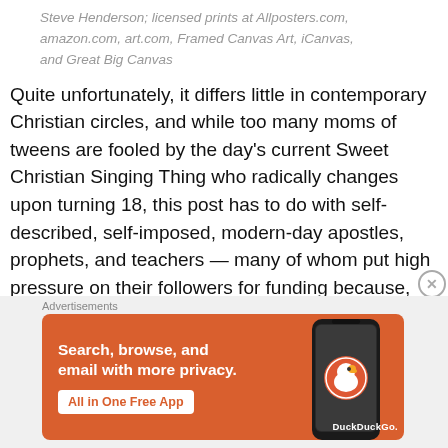Steve Henderson; licensed prints at Allposters.com, amazon.com, art.com, Framed Canvas Art, iCanvas, and Great Big Canvas
Quite unfortunately, it differs little in contemporary Christian circles, and while too many moms of tweens are fooled by the day's current Sweet Christian Singing Thing who radically changes upon turning 18, this post has to do with self-described, self-imposed, modern-day apostles, prophets, and teachers — many of whom put high pressure on their followers for funding because, they say, they have been called to do the mighty work of God, and
[Figure (other): DuckDuckGo advertisement banner: orange background with text 'Search, browse, and email with more privacy. All in One Free App' and a phone image showing the DuckDuckGo app logo]